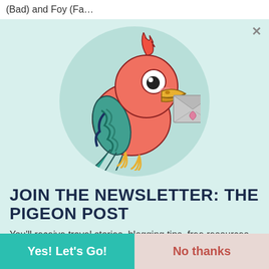(Bad) and Foy (Fa…
[Figure (illustration): Cartoon parrot bird holding an envelope in its beak, pink/red body with teal/blue wing feathers, yellow beak and feet, white eyes with dark pupils, envelope is grey with a pink heart. Bird is centered on a teal-green circle background.]
JOIN THE NEWSLETTER: THE PIGEON POST
You'll receive travel stories, blogging tips, free resources, and Rocky's new posts!
Yes! Let's Go!
No thanks